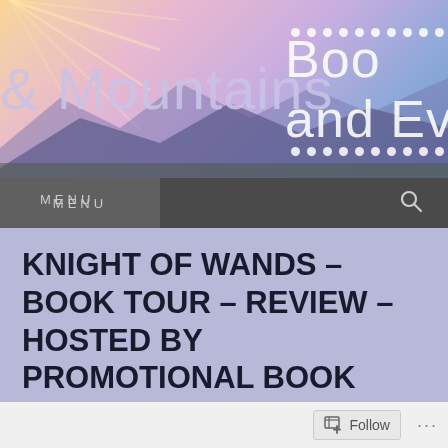[Figure (screenshot): Website header banner with mountain landscape background, sun burst top-left, lavender/purple gradient. Text '& Mountains' in light purple and 'Boo... and Ev...' in white on right side, with decorative dots rows top-right and bottom-right.]
MENU
KNIGHT OF WANDS – BOOK TOUR – REVIEW – HOSTED BY PROMOTIONAL BOOK TOURS
Follow